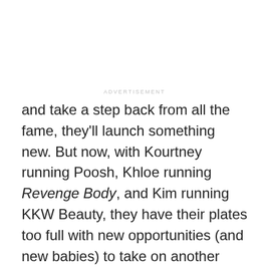ADVERTISEMENT
and take a step back from all the fame, they'll launch something new. But now, with Kourtney running Poosh, Khloe running Revenge Body, and Kim running KKW Beauty, they have their plates too full with new opportunities (and new babies) to take on another retail business.
Tags:  THE KARDASHIANS
ADVERTISEMENT